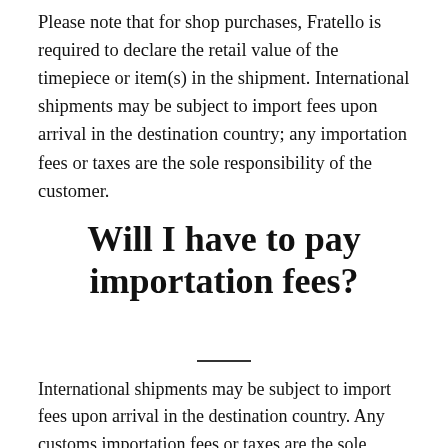Please note that for shop purchases, Fratello is required to declare the retail value of the timepiece or item(s) in the shipment. International shipments may be subject to import fees upon arrival in the destination country; any importation fees or taxes are the sole responsibility of the customer.
Will I have to pay importation fees?
International shipments may be subject to import fees upon arrival in the destination country. Any customs importation fees or taxes are the sole responsibility of